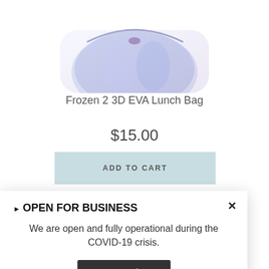[Figure (photo): Frozen 2 3D EVA Lunch Bag product photo, partially cropped at top, showing a purple/blue lunch bag with Frozen 2 characters]
Frozen 2 3D EVA Lunch Bag
$15.00
ADD TO CART
[Figure (photo): Partial view of a second product — a purple circular plate/bowl with Frozen characters and a zak! brand label]
▶ OPEN FOR BUSINESS
We are open and fully operational during the COVID-19 crisis.
More Info